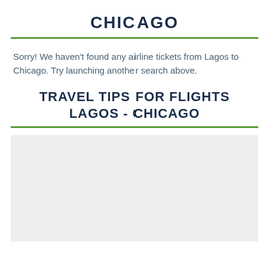CHICAGO
Sorry! We haven't found any airline tickets from Lagos to Chicago. Try launching another search above.
TRAVEL TIPS FOR FLIGHTS LAGOS - CHICAGO
[Figure (other): Gray placeholder box representing a content/image area]